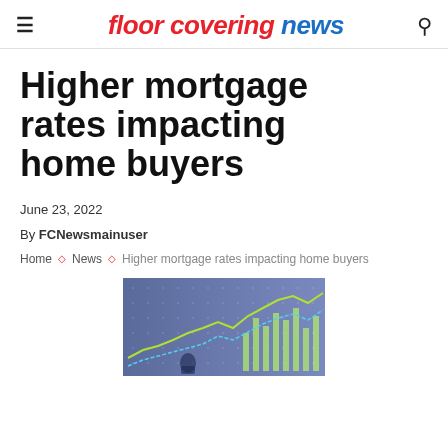floor covering news
Higher mortgage rates impacting home buyers
June 23, 2022
By FCNewsmainuser
Home > News > Higher mortgage rates impacting home buyers
[Figure (photo): Financial chart with green line graphs and bar charts on a blue/purple background, showing market data]